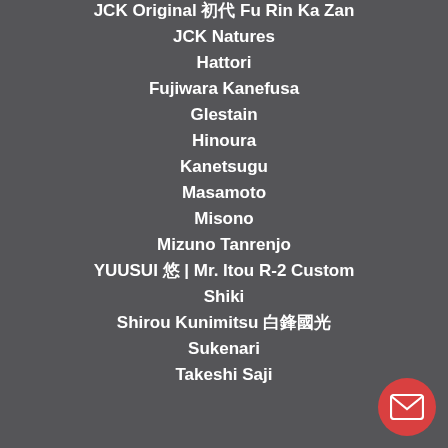JCK Original 初代 Fu Rin Ka Zan
JCK Natures
Hattori
Fujiwara Kanefusa
Glestain
Hinoura
Kanetsugu
Masamoto
Misono
Mizuno Tanrenjo
YUUSUI 悠 | Mr. Itou R-2 Custom
Shiki
Shirou Kunimitsu 白鋒國光
Sukenari
Takeshi Saji